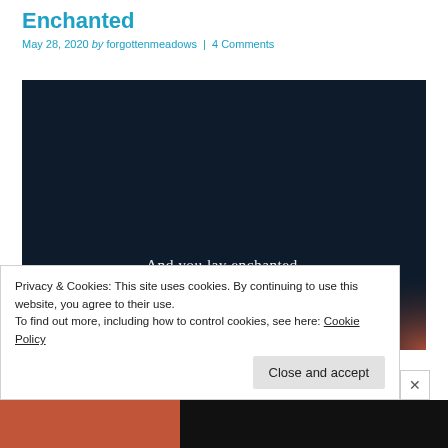Enchanted
May 28, 2020 by forgottenmeadows | 4 Comments
[Figure (photo): Dark navy background image with poem text: 'And you lay enchanted, Watching rain, Serenade the sun.' with a reddish-orange gradient glow at the bottom right.]
Privacy & Cookies: This site uses cookies. By continuing to use this website, you agree to their use.
To find out more, including how to control cookies, see here: Cookie Policy
Close and accept